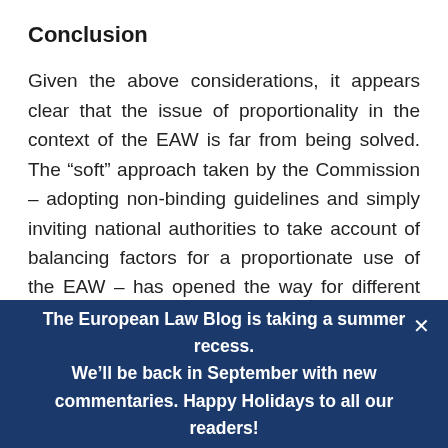Conclusion
Given the above considerations, it appears clear that the issue of proportionality in the context of the EAW is far from being solved. The “soft” approach taken by the Commission – adopting non-binding guidelines and simply inviting national authorities to take account of balancing factors for a proportionate use of the EAW – has opened the way for different solutions at the domestic level, as the case of Italy
The European Law Blog is taking a summer recess. We’ll be back in September with new commentaries. Happy Holidays to all our readers!